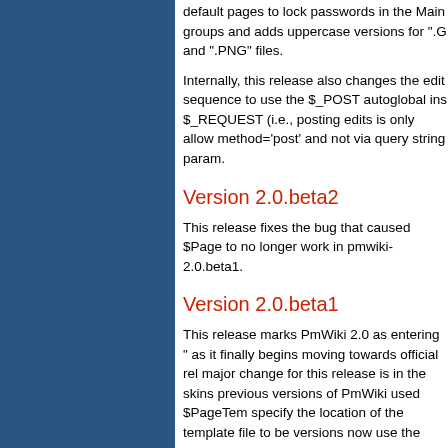default pages to lock passwords in the Main groups and adds uppercase versions for ".G and ".PNG" files.
Internally, this release also changes the edit sequence to use the $_POST autoglobal ins $_REQUEST (i.e., posting edits is only allow method='post' and not via query string param.
Version 2.0.beta2
This release fixes the bug that caused $Page to no longer work in pmwiki-2.0.beta1.
Version 2.0.beta1
This release marks PmWiki 2.0 as entering " as it finally begins moving towards official rel major change for this release is in the skins previous versions of PmWiki used $PageTem specify the location of the template file to be versions now use the $Skin variable to speci of the skins directory (in pub/skins/) that con template file, php configuration script, and ot
In general, if you previously had $PageTemp "pub/skins/myskin/myskin.tmpl", then you no $Skin='myskin'; to get things to work. See PmWiki.LayoutBasics for more details.